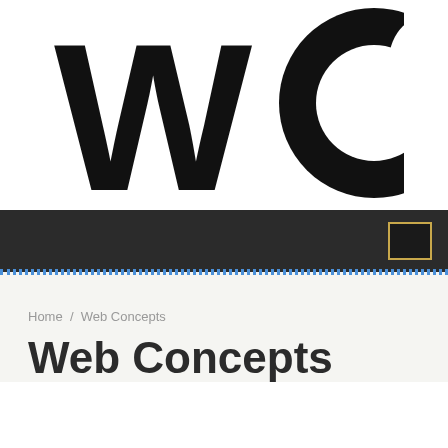[Figure (logo): WC logo — large black stylized letters W and C, where C has a crescent moon cutout shape]
[Figure (other): Dark navigation bar with a gold-outlined square button on the right side]
Home / Web Concepts
Web Concepts